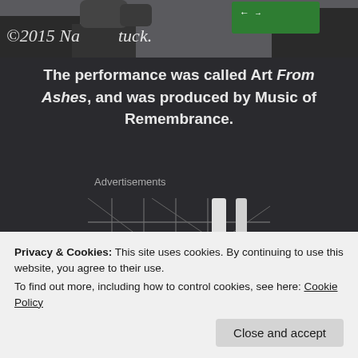[Figure (photo): Top partial photo showing a street scene with a green directional sign and text overlay reading '©2015 Na[pa]tuck']
The performance was called Art From Ashes, and was produced by Music of Remembrance.
Advertisements
[Figure (photo): Photo of what appears to be a building facade with wire fencing, hanging white objects, and wooden boards]
Privacy & Cookies: This site uses cookies. By continuing to use this website, you agree to their use.
To find out more, including how to control cookies, see here: Cookie Policy
Close and accept
[Figure (photo): Bottom partial photo showing outdoor scene with greenery]